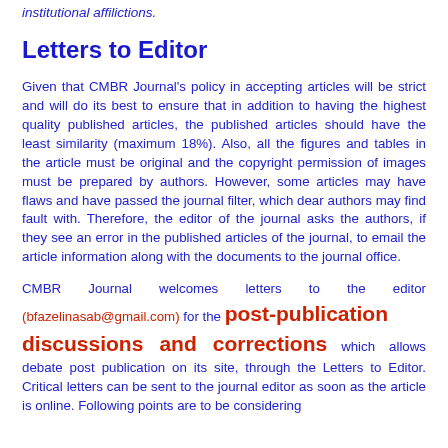institutional affilictions.
Letters to Editor
Given that CMBR Journal's policy in accepting articles will be strict and will do its best to ensure that in addition to having the highest quality published articles, the published articles should have the least similarity (maximum 18%). Also, all the figures and tables in the article must be original and the copyright permission of images must be prepared by authors. However, some articles may have flaws and have passed the journal filter, which dear authors may find fault with. Therefore, the editor of the journal asks the authors, if they see an error in the published articles of the journal, to email the article information along with the documents to the journal office.
CMBR Journal welcomes letters to the editor (bfazelinasab@gmail.com) for the post-publication discussions and corrections which allows debate post publication on its site, through the Letters to Editor. Critical letters can be sent to the journal editor as soon as the article is online. Following points are to be considering